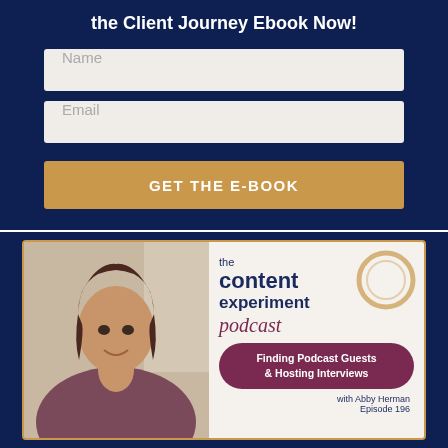the Client Journey Ebook Now!
[Figure (other): Name input field placeholder]
[Figure (other): Email input field placeholder]
GET THE E-BOOK
[Figure (illustration): The Content Experiment Podcast cover art featuring a woman smiling, the podcast logo with a gold circle, and a mauve rounded rectangle with text: Finding Podcast Guests & Hosting Interviews, with Abby Herman, Episode 196]